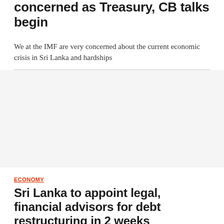concerned as Treasury, CB talks begin
We at the IMF are very concerned about the current economic crisis in Sri Lanka and hardships
[Figure (photo): Image placeholder area related to the article]
ECONOMY
Sri Lanka to appoint legal, financial advisors for debt restructuring in 2 weeks
Sri Lanka is facing risk of sovereign debt default after a